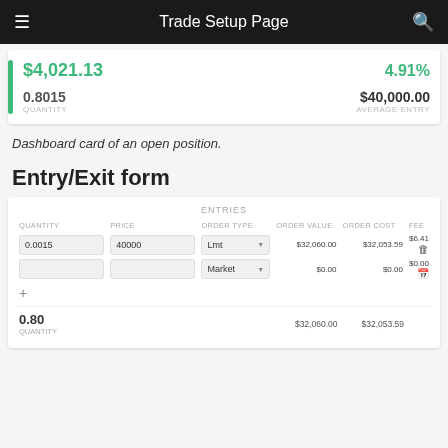Trade Setup Page
[Figure (screenshot): Dashboard card showing open position with $4,021.13 value, 4.91% return, 0.8015 quantity, $40,000.00 average entry]
Dashboard card of an open position.
Entry/Exit form
| QUANTITY | PRICE | ORDER TYPE | ORDER VALUE | ORDER COST | FEE |
| --- | --- | --- | --- | --- | --- |
| 0.0015 | 40000 | Lmt | $32,060.00 | $32,053.59 | $6.41 |
|  |  | Market | $0.00 | $0.00 | $0.00 |
0.80
QUANTITY
$32,060.00  $32,053.59